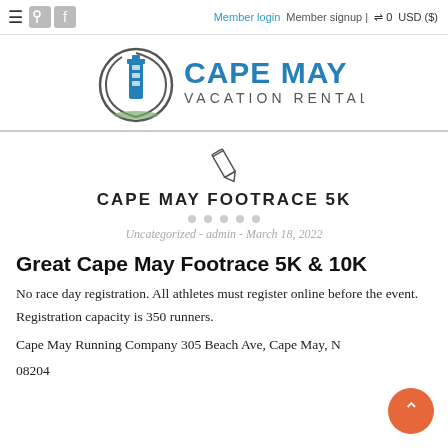Member login | Member signup | 0 USD ($)
[Figure (logo): Cape May Vacation Rentals logo with lighthouse graphic]
[Figure (illustration): Pencil/pen icon]
CAPE MAY FOOTRACE 5K
Uncategorized - admin - March 18, 2022
Great Cape May Footrace 5K & 10K
No race day registration. All athletes must register online before the event. Registration capacity is 350 runners.
Cape May Running Company 305 Beach Ave, Cape May, NJ 08204